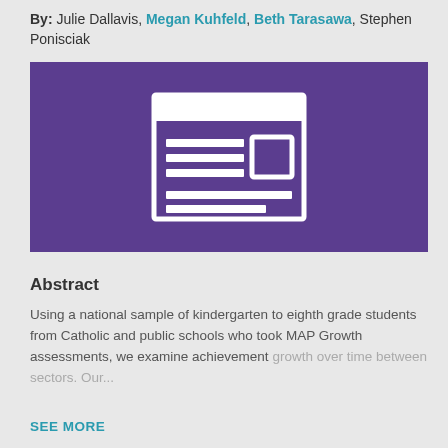By: Julie Dallavis, Megan Kuhfeld, Beth Tarasawa, Stephen Ponisciak
[Figure (illustration): Purple/violet rectangular background with a white outline icon depicting a document or article — a rectangle with a header bar, three horizontal lines and a small square inset, representing a publication or report cover.]
Abstract
Using a national sample of kindergarten to eighth grade students from Catholic and public schools who took MAP Growth assessments, we examine achievement growth over time between sectors. Our...
SEE MORE